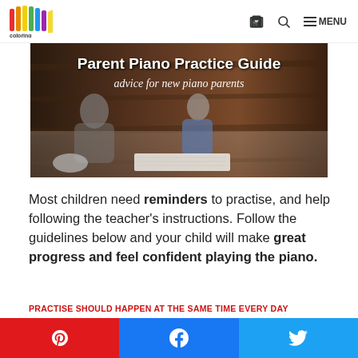MENU
[Figure (photo): Parent Piano Practice Guide - banner image showing an adult and child sitting on the floor with sheet music, dark wood background. Title text: 'Parent Piano Practice Guide' and subtitle 'advice for new piano parents']
Most children need reminders to practise, and help following the teacher's instructions. Follow the guidelines below and your child will make great progress and feel confident playing the piano.
PRACTISE SHOULD HAPPEN AT THE SAME TIME EVERY DAY
[Figure (other): Social share buttons row: Pinterest (red), Facebook (blue), Twitter (blue)]